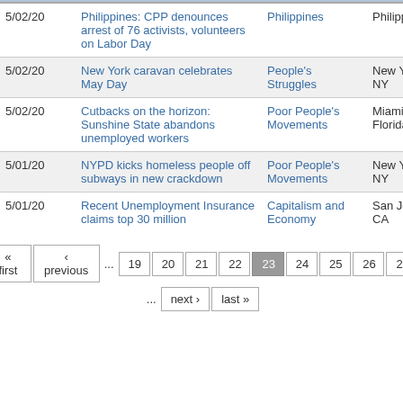| Date | Title | Topic | Location |
| --- | --- | --- | --- |
| 5/02/20 | Philippines: CPP denounces arrest of 76 activists, volunteers on Labor Day | Philippines | Philippines |
| 5/02/20 | New York caravan celebrates May Day | People's Struggles | New York, NY |
| 5/02/20 | Cutbacks on the horizon: Sunshine State abandons unemployed workers | Poor People's Movements | Miami, Florida |
| 5/01/20 | NYPD kicks homeless people off subways in new crackdown | Poor People's Movements | New York, NY |
| 5/01/20 | Recent Unemployment Insurance claims top 30 million | Capitalism and Economy | San José, CA |
« first ‹ previous ... 19 20 21 22 23 24 25 26 27 ... next › last »